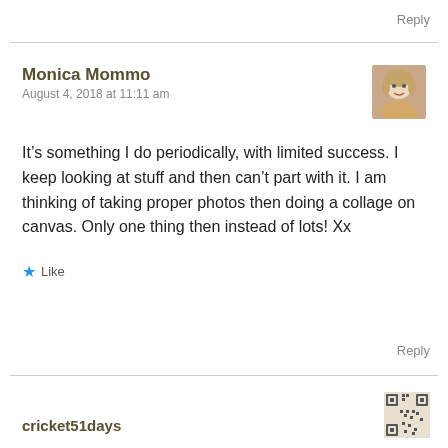Reply
Monica Mommo
August 4, 2018 at 11:11 am
It’s something I do periodically, with limited success. I keep looking at stuff and then can’t part with it. I am thinking of taking proper photos then doing a collage on canvas. Only one thing then instead of lots! Xx
Like
Reply
cricket51days